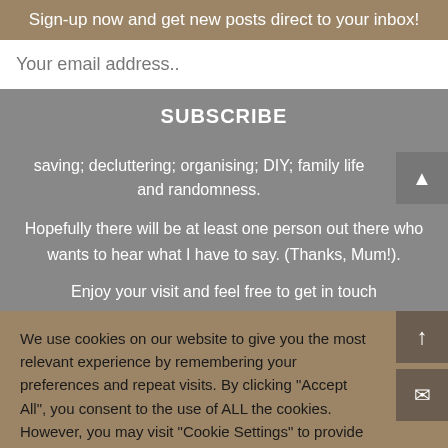Sign-up now and get new posts direct to your inbox!
Your email address..
SUBSCRIBE
saving; decluttering; organising; DIY; family life and randomness.
Hopefully there will be at least one person out there who wants to hear what I have to say. (Thanks, Mum!).
Enjoy your visit and feel free to get in touch
We use cookies on our website to give you the most relevant experience by remembering your preferences and repeat visits. By clicking "Accept All", you consent to the use of ALL the cookies. However, you may visit "Cookie Settings" to provide a controlled consent.
Cookie Settings
Accept All